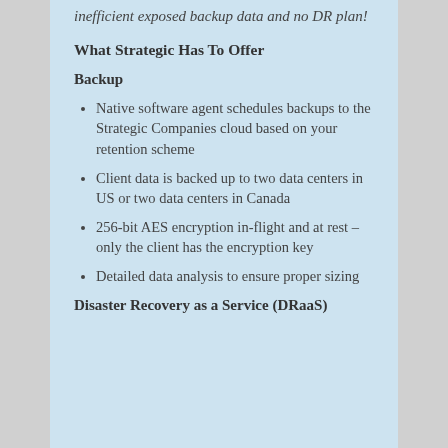inefficient exposed backup data and no DR plan!
What Strategic Has To Offer
Backup
Native software agent schedules backups to the Strategic Companies cloud based on your retention scheme
Client data is backed up to two data centers in US or two data centers in Canada
256-bit AES encryption in-flight and at rest – only the client has the encryption key
Detailed data analysis to ensure proper sizing
Disaster Recovery as a Service (DRaaS)